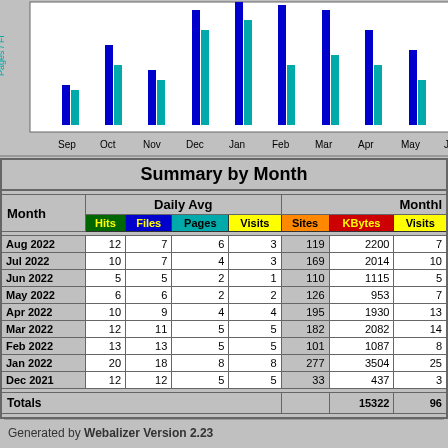[Figure (bar-chart): Grouped bar chart showing hits, files, pages by month (Sep-Aug) with blue/cyan bars, and additional red bars on right side]
| Month | Hits | Files | Pages | Visits | Sites | KBytes | Visits |
| --- | --- | --- | --- | --- | --- | --- | --- |
| Aug 2022 | 12 | 7 | 6 | 3 | 119 | 2200 | 7 |
| Jul 2022 | 10 | 7 | 4 | 3 | 169 | 2014 | 10 |
| Jun 2022 | 5 | 5 | 2 | 1 | 110 | 1115 | 5 |
| May 2022 | 6 | 6 | 2 | 2 | 126 | 953 | 7 |
| Apr 2022 | 10 | 9 | 4 | 4 | 195 | 1930 | 13 |
| Mar 2022 | 12 | 11 | 5 | 5 | 182 | 2082 | 14 |
| Feb 2022 | 13 | 13 | 5 | 5 | 101 | 1087 | 8 |
| Jan 2022 | 20 | 18 | 8 | 8 | 277 | 3504 | 25 |
| Dec 2021 | 12 | 12 | 5 | 5 | 33 | 437 | 3 |
| Totals |  |  |  |  |  | 15322 | 96 |
Generated by Webalizer Version 2.23